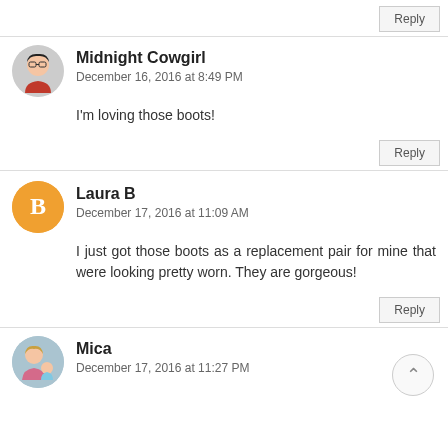Reply
Midnight Cowgirl
December 16, 2016 at 8:49 PM
I'm loving those boots!
Reply
Laura B
December 17, 2016 at 11:09 AM
I just got those boots as a replacement pair for mine that were looking pretty worn. They are gorgeous!
Reply
Mica
December 17, 2016 at 11:27 PM